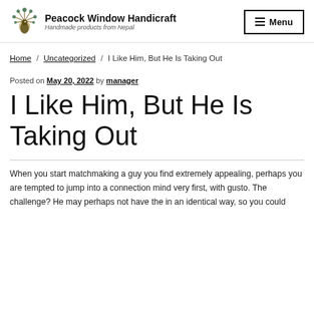Peacock Window Handicraft — Handmade products from Nepal
Home / Uncategorized / I Like Him, But He Is Taking Out
Posted on May 20, 2022 by manager
I Like Him, But He Is Taking Out
When you start matchmaking a guy you find extremely appealing, perhaps you are tempted to jump into a connection mind very first, with gusto. The challenge? He may perhaps not have the in an identical way, so you could